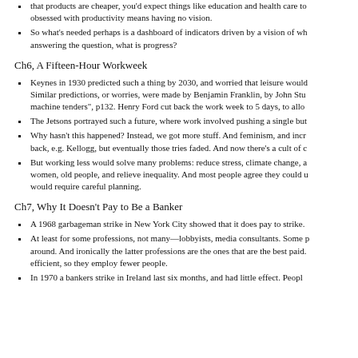that products are cheaper, you'd expect things like education and health care to... obsessed with productivity means having no vision.
So what's needed perhaps is a dashboard of indicators driven by a vision of wh... answering the question, what is progress?
Ch6, A Fifteen-Hour Workweek
Keynes in 1930 predicted such a thing by 2030, and worried that leisure would... Similar predictions, or worries, were made by Benjamin Franklin, by John Stu... machine tenders", p132. Henry Ford cut back the work week to 5 days, to allo...
The Jetsons portrayed such a future, where work involved pushing a single bu...
Why hasn't this happened? Instead, we got more stuff. And feminism, and incr... back, e.g. Kellogg, but eventually those tries faded. And now there's a cult of c...
But working less would solve many problems: reduce stress, climate change, a... women, old people, and relieve inequality. And most people agree they could u... would require careful planning.
Ch7, Why It Doesn't Pay to Be a Banker
A 1968 garbageman strike in New York City showed that it does pay to strike.
At least for some professions, not many—lobbyists, media consultants. Some p... around. And ironically the latter professions are the ones that are the best paid.... efficient, so they employ fewer people.
In 1970 a bankers strike in Ireland last six months, and had little effect. Peopl...